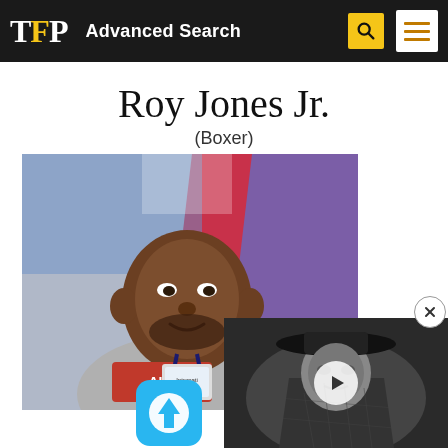TFP  Advanced Search
Roy Jones Jr.
(Boxer)
[Figure (photo): Photo of Roy Jones Jr., a bald Black man wearing a grey hoodie with red logo and a lanyard/badge, smiling and looking upward. Behind him is a colorful background with blue, red, and purple geometric shapes.]
[Figure (photo): Black and white thumbnail image of a woman wearing a wide-brimmed hat, with a video play button overlay. Advertisement overlay in bottom-right corner.]